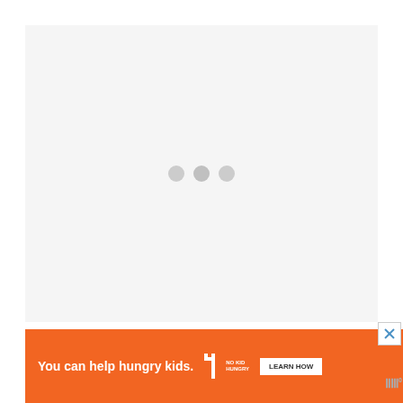[Figure (other): Loading placeholder area with light gray background and three gray dots indicating loading spinner]
[Figure (other): Advertisement banner with orange background reading 'You can help hungry kids.' with No Kid Hungry logo and 'LEARN HOW' button, and a close X button]